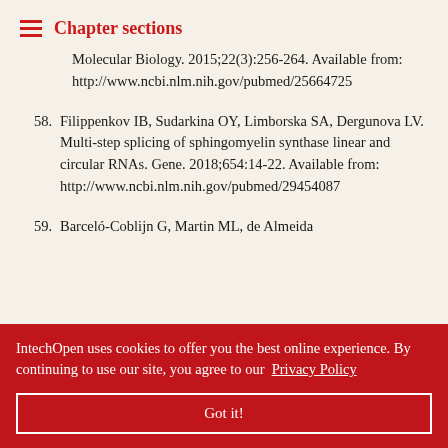Chapter sections
Molecular Biology. 2015;22(3):256-264. Available from: http://www.ncbi.nlm.nih.gov/pubmed/25664725
58. Filippenkov IB, Sudarkina OY, Limborska SA, Dergunova LV. Multi-step splicing of sphingomyelin synthase linear and circular RNAs. Gene. 2018;654:14-22. Available from: http://www.ncbi.nlm.nih.gov/pubmed/29454087
59. Barceló-Coblijn G, Martin ML, de Almeida ...-Etxenike A, ...myelin and ...he malignant ...in 2- ...ings of the ...ne United States of America. 2011;108(49):19569-19574
IntechOpen uses cookies to offer you the best online experience. By continuing to use our site, you agree to our Privacy Policy
Got it!